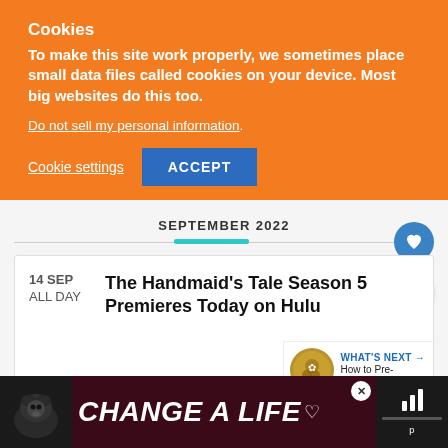Cookies
To make this site work properly, we sometimes place small data files called cookies on your device. Most big websites do this too.
Do not sell my personal information.
Cookie settings  ACCEPT
SEPTEMBER 2022
14 SEP  ALL DAY  The Handmaid's Tale Season 5 Premieres Today on Hulu
WHAT'S NEXT → How to Pre-Order the....
[Figure (infographic): Ad banner with dog image, text CHANGE A LIFE with heart symbol, close button, and audio/media controls on the right.]